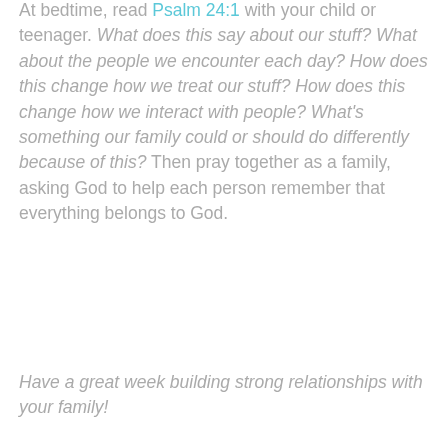At bedtime, read Psalm 24:1 with your child or teenager. What does this say about our stuff? What about the people we encounter each day? How does this change how we treat our stuff? How does this change how we interact with people? What's something our family could or should do differently because of this? Then pray together as a family, asking God to help each person remember that everything belongs to God.
Have a great week building strong relationships with your family!